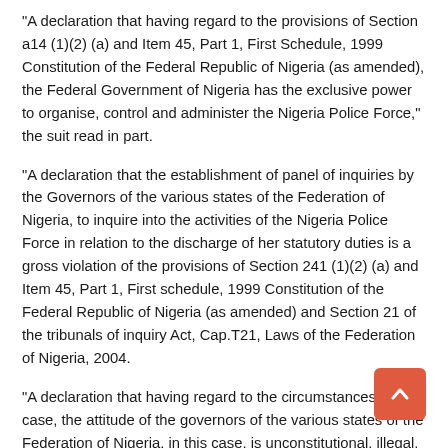“A declaration that having regard to the provisions of Section a14 (1)(2) (a) and Item 45, Part 1, First Schedule, 1999 Constitution of the Federal Republic of Nigeria (as amended), the Federal Government of Nigeria has the exclusive power to organise, control and administer the Nigeria Police Force,” the suit read in part.
“A declaration that the establishment of panel of inquiries by the Governors of the various states of the Federation of Nigeria, to inquire into the activities of the Nigeria Police Force in relation to the discharge of her statutory duties is a gross violation of the provisions of Section 241 (1)(2) (a) and Item 45, Part 1, First schedule, 1999 Constitution of the Federal Republic of Nigeria (as amended) and Section 21 of the tribunals of inquiry Act, Cap.T21, Laws of the Federation of Nigeria, 2004.
“A declaration that having regard to the circumstances of this case, the attitude of the governors of the various states of the Federation of Nigeria, in this case, is unconstitutional, illegal, null and void and of no effect whatsoever.
“A declaration that having regard to the circumstances of this case, enjoining the 3rd to 38th...